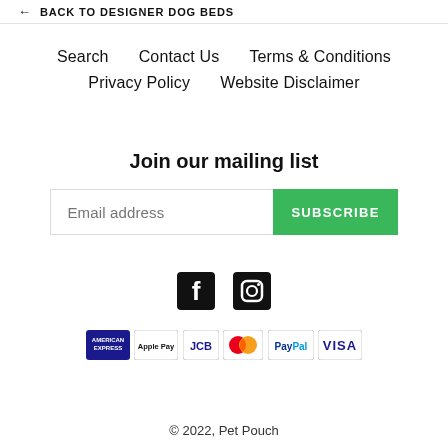← BACK TO DESIGNER DOG BEDS
Search
Contact Us
Terms & Conditions
Privacy Policy
Website Disclaimer
Join our mailing list
Email address  SUBSCRIBE
[Figure (logo): Facebook icon (F logo in black square)]
[Figure (logo): Instagram icon (camera outline in black square)]
[Figure (logo): Payment method icons: American Express, Apple Pay, JCB, Mastercard, PayPal, Visa]
© 2022, Pet Pouch